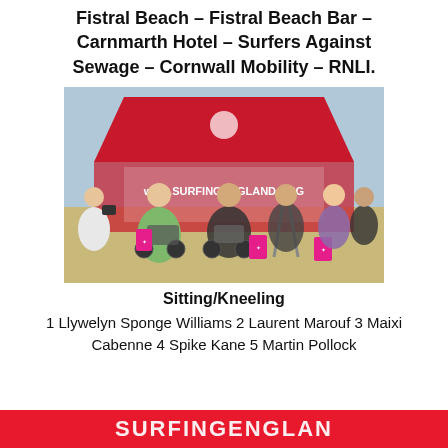Fistral Beach – Fistral Beach Bar – Carnmarth Hotel – Surfers Against Sewage – Cornwall Mobility – RNLI.
[Figure (photo): Group photo at Fistral Beach with a red Surfing England tent (www.surfingengland.org). Several people in wheelchairs and on crutches are lined up on the sandy beach, holding pink goodie bags. Bystanders and helpers surround them.]
Sitting/Kneeling
1 Llywelyn Sponge Williams 2 Laurent Marouf 3 Maixi Cabenne 4 Spike Kane 5 Martin Pollock
[Figure (logo): Red banner at bottom with white text partially visible: SURFINGENGLAN...]